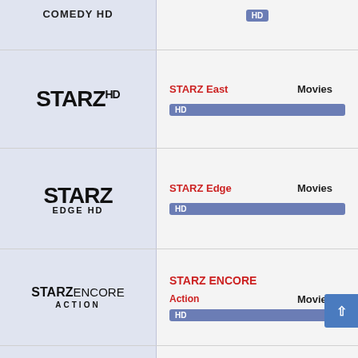COMEDY HD
STARZ East | HD | Movies
STARZ Edge | HD | Movies
STARZ ENCORE | Action | HD | Movies